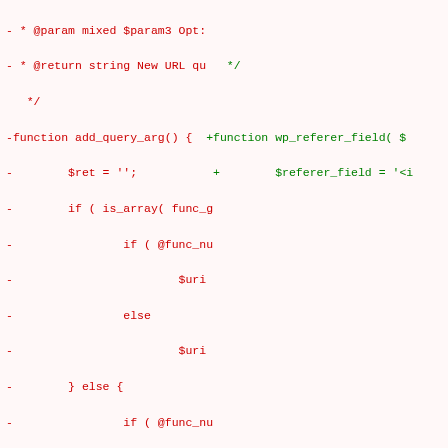[Figure (screenshot): A code diff screenshot showing two columns of PHP code. Left column (red, removed lines) shows the add_query_arg() function. Right column (green, added lines) shows the wp_referer_field() function. Lines are prefixed with - (removed) or + (added) markers.]